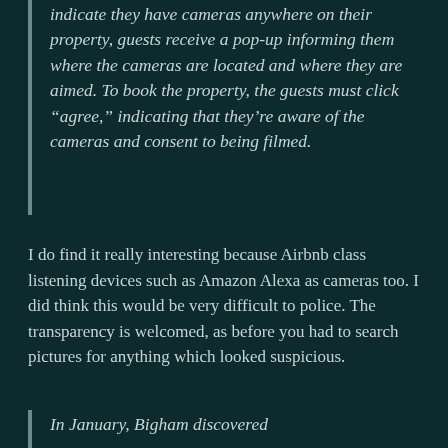indicate they have cameras anywhere on their property, guests receive a pop-up informing them where the cameras are located and where they are aimed. To book the property, the guests must click “agree,” indicating that they’re aware of the cameras and consent to being filmed.
I do find it really interesting because Airbnb class listening devices such as Amazon Alexa as cameras too. I did think this would be very difficult to police. The transparency is welcomed, as before you had to search pictures for anything which looked suspicious.
In January, Bigham discovered